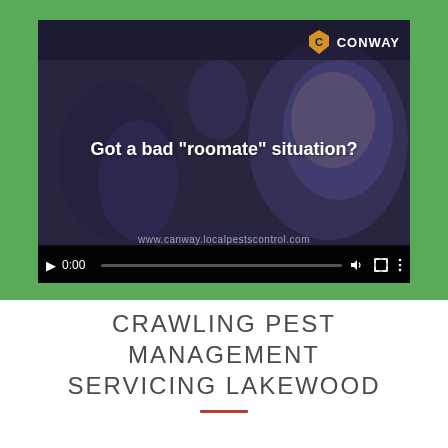[Figure (screenshot): Video player screenshot showing a man with a beard, overlaid text 'Got a bad “roomate” situation?', Conway pest control logo in top right, video controls at bottom showing 0:00 timestamp, and watermark www.canway.localpestscontrol.com]
CRAWLING PEST MANAGEMENT SERVICING LAKEWOOD